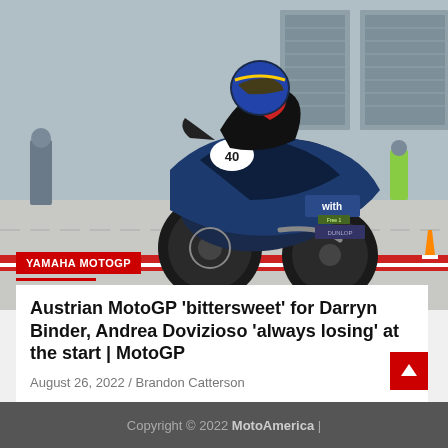[Figure (photo): A motorcycle racer in dark blue gear with helmet riding a blue/black Yamaha MotoGP motorcycle (number 40, 'with' sponsor) out of pit lane, with pit garages and track marshals visible in the background.]
YAMAHA MOTOGP
Austrian MotoGP ‘bittersweet’ for Darryn Binder, Andrea Dovizioso ‘always losing’ at the start | MotoGP
August 26, 2022 / Brandon Catterson
Copyright © 2022 MotoAmerica |